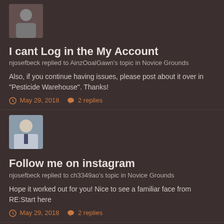[Figure (photo): Small user avatar photo, partially visible at top]
I cant Log in the My Account
njosefbeck replied to AinzOoalGawn's topic in Novice Grounds
Also, if you continue having issues, please post about it over in "Pesticide Warehouse". Thanks!
May 29, 2018  2 replies
[Figure (photo): User avatar photo of man in shirt and tie]
Follow me on instagram
njosefbeck replied to ch3349ao's topic in Novice Grounds
Hope it worked out for you! Nice to see a familiar face from RE:Start here
May 29, 2018  2 replies
[Figure (photo): User avatar photo partially visible at bottom]